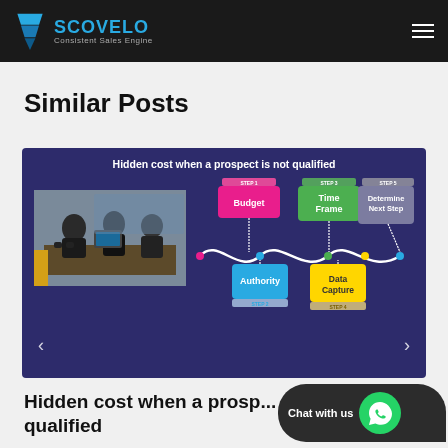SCOVELO - Consistent Sales Engine
Similar Posts
[Figure (infographic): Carousel slide showing 'Hidden cost when a prospect is not qualified' with a 5-step qualification diagram (Budget, Authority, Time Frame, Data Capture, Determine Next Step) and a photo of people working at a table. Left and right navigation arrows visible.]
Hidden cost when a prosp... qualified